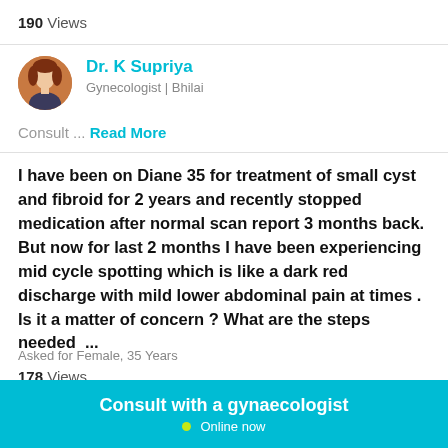190 Views
Dr. K Supriya
Gynecologist | Bhilai
Consult ... Read More
I have been on Diane 35 for treatment of small cyst and fibroid for 2 years and recently stopped medication after normal scan report 3 months back. But now for last 2 months I have been experiencing mid cycle spotting which is like a dark red discharge with mild lower abdominal pain at times . Is it a matter of concern ? What are the steps needed  ...
Asked for Female, 35 Years
178 Views
Consult with a gynaecologist
Online now